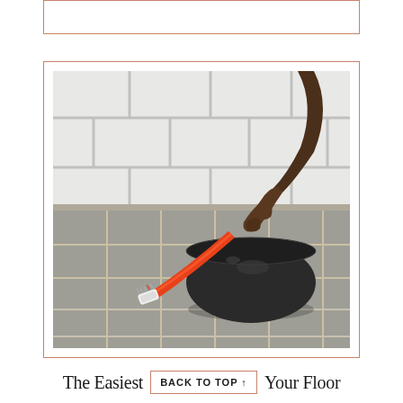[Figure (photo): A dark-skinned hand holding an orange toothbrush over a black ceramic bowl, placed on a grey tile floor with visible grout lines. White subway tile backsplash in the background.]
The Easiest BACK TO TOP ↑ Your Floor